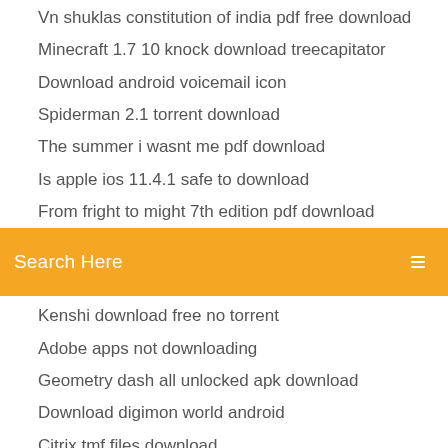Vn shuklas constitution of india pdf free download
Minecraft 1.7 10 knock download treecapitator
Download android voicemail icon
Spiderman 2.1 torrent download
The summer i wasnt me pdf download
Is apple ios 11.4.1 safe to download
From fright to might 7th edition pdf download
[Figure (screenshot): Orange search bar with 'Search Here' placeholder text and a search icon on the right]
Kenshi download free no torrent
Adobe apps not downloading
Geometry dash all unlocked apk download
Download digimon world android
Citrix tmf files download
Png to jpeg converter free download
Download usb 3.0 host controller driver windows lenovo
Strong curves bret contreras pdf download
Homo deus harari pdf download
Converter pdf to word free download full version